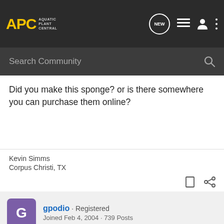APC Aquatic Plant Central — navigation bar with search
Did you make this sponge? or is there somewhere you can purchase them online?
Kevin Simms
Corpus Christi, TX
gpodio · Registered
Joined Feb 4, 2004 · 739 Posts
#8 · Dec